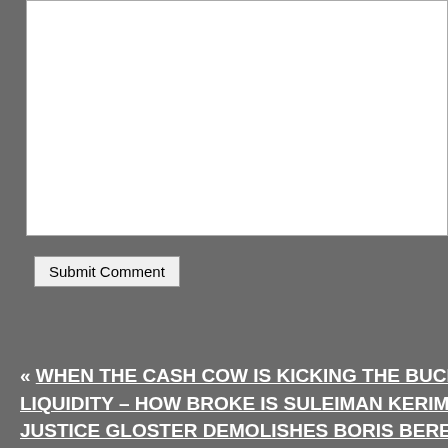[Figure (other): White input/textarea box for comment submission]
Submit Comment
« WHEN THE CASH COW IS KICKING THE BUCKET, OLIGARCHS NEED LIQUIDITY – HOW BROKE IS SULEIMAN KERIMOV? THE FULL MONTY: JUSTICE GLOSTER DEMOLISHES BORIS BEREZOVSKY, AND ALSO MARK CURTIS, BUT LEAVES OLEG DERIPASKA'S FATE TO JUSTICE AN